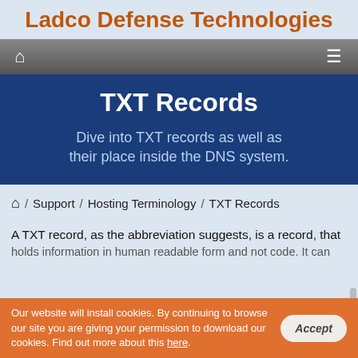Ladco Defense Technologies
[Figure (screenshot): Navigation bar with home icon and hamburger menu icon on dark gray gradient background]
TXT Records
Dive into TXT records as well as their place inside the DNS system.
🏠 / Support / Hosting Terminology / TXT Records
A TXT record, as the abbreviation suggests, is a record, that holds information in human-readable form and not code. It can...
Our website will install cookies. By continuing to browse our site you are giving your permission to download our cookies. Find out more about this here.